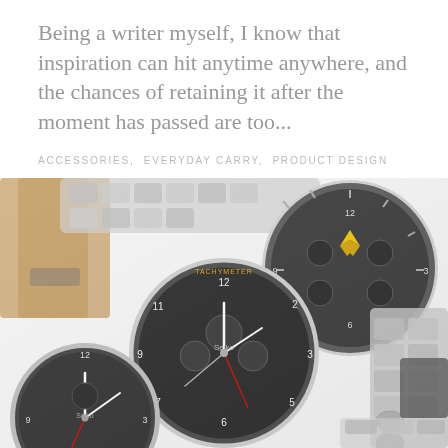Being a writer myself, I know that inspiration can hit anytime anywhere, and the chances of retaining it after the moment has passed are too...
ACCESSORIES,  EVERYDAY CARRY,  PRODUCT DESIGN
[Figure (photo): Overhead flat-lay photograph of multiple wrist watches on a white surface, including watches with dark dials and metal bracelets, one with a yellow logo element, and leather straps visible at the edges.]